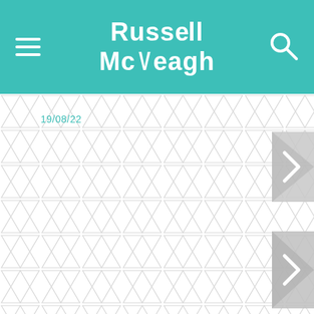Russell McVeagh
19/08/22
[Figure (illustration): Decorative triangle pattern background covering the lower portion of the page, with two right-arrow navigation buttons on the right side.]